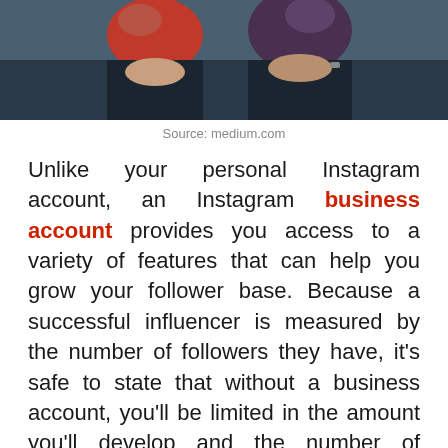[Figure (photo): Two people sitting on a couch looking at their phones, viewed from the waist down, one wearing a red top and the other wearing a dark shirt]
Source: medium.com
Unlike your personal Instagram account, an Instagram business account provides you access to a variety of features that can help you grow your follower base. Because a successful influencer is measured by the number of followers they have, it's safe to state that without a business account, you'll be limited in the amount you'll develop and the number of people's feeds you'll reach.
With a business account, you receive access to Instagram's implicit introspective tool, which